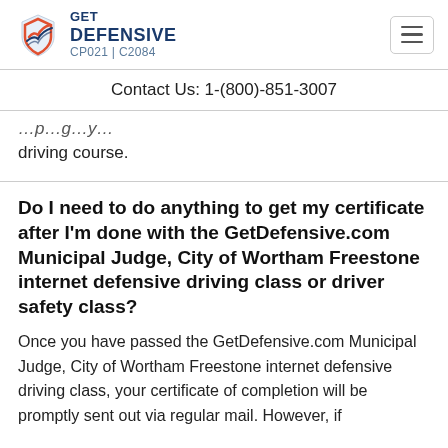GET DEFENSIVE CP021 | C2084
Contact Us: 1-(800)-851-3007
driving course.
Do I need to do anything to get my certificate after I'm done with the GetDefensive.com Municipal Judge, City of Wortham Freestone internet defensive driving class or driver safety class?
Once you have passed the GetDefensive.com Municipal Judge, City of Wortham Freestone internet defensive driving class, your certificate of completion will be promptly sent out via regular mail. However, if